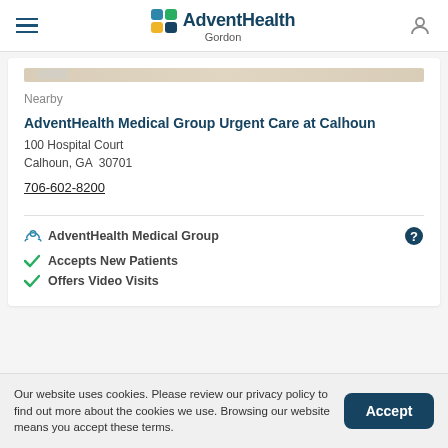AdventHealth Gordon
[Figure (other): Partial map image strip showing location indicator]
Nearby
AdventHealth Medical Group Urgent Care at Calhoun
100 Hospital Court
Calhoun, GA  30701
706-602-8200
AdventHealth Medical Group
Accepts New Patients
Offers Video Visits
Our website uses cookies. Please review our privacy policy to find out more about the cookies we use. Browsing our website means you accept these terms.